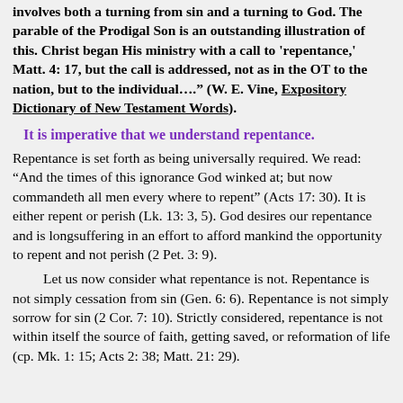involves both a turning from sin and a turning to God. The parable of the Prodigal Son is an outstanding illustration of this. Christ began His ministry with a call to 'repentance,' Matt. 4: 17, but the call is addressed, not as in the OT to the nation, but to the individual…." (W. E. Vine, Expository Dictionary of New Testament Words).
It is imperative that we understand repentance.
Repentance is set forth as being universally required. We read: "And the times of this ignorance God winked at; but now commandeth all men every where to repent" (Acts 17: 30). It is either repent or perish (Lk. 13: 3, 5). God desires our repentance and is longsuffering in an effort to afford mankind the opportunity to repent and not perish (2 Pet. 3: 9).
Let us now consider what repentance is not. Repentance is not simply cessation from sin (Gen. 6: 6). Repentance is not simply sorrow for sin (2 Cor. 7: 10). Strictly considered, repentance is not within itself the source of faith, getting saved, or reformation of life (cp. Mk. 1: 15; Acts 2: 38; Matt. 21: 29).